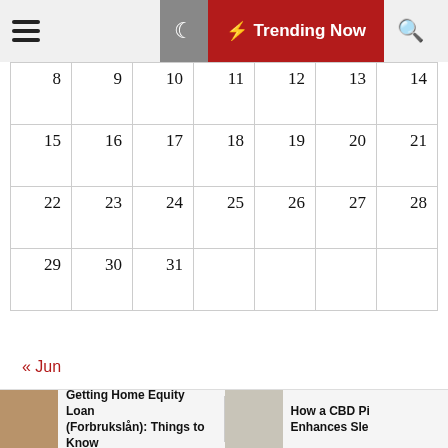☰  🌙  ⚡ Trending Now  🔍
| 8 | 9 | 10 | 11 | 12 | 13 | 14 |
| 15 | 16 | 17 | 18 | 19 | 20 | 21 |
| 22 | 23 | 24 | 25 | 26 | 27 | 28 |
| 29 | 30 | 31 |  |  |  |  |
« Jun
Tags
Business
Buy
California
Cases
Getting Home Equity Loan (Forbrukslån): Things to Know
How a CBD Pi Enhances Sle